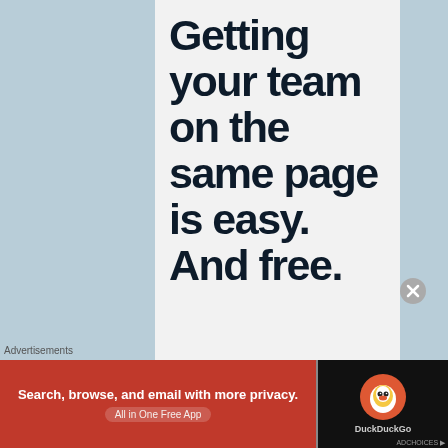Getting your team on the same page is easy. And free.
[Figure (illustration): Row of circular avatar photos of team members (3 people and one blue circle with plus icon) partially visible at the bottom of the main panel]
Advertisements
[Figure (screenshot): DuckDuckGo advertisement banner with orange-red background on left reading 'Search, browse, and email with more privacy. All in One Free App' and dark right side with DuckDuckGo duck logo and brand name]